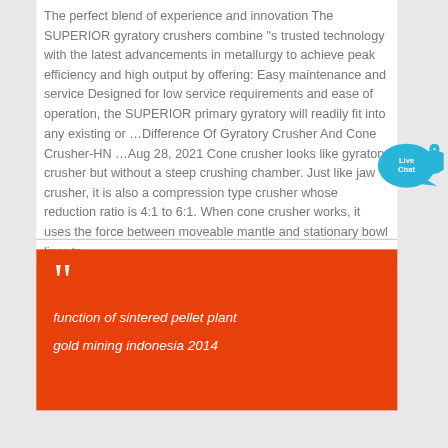The perfect blend of experience and innovation The SUPERIOR gyratory crushers combine "s trusted technology with the latest advancements in metallurgy to achieve peak efficiency and high output by offering: Easy maintenance and service Designed for low service requirements and ease of operation, the SUPERIOR primary gyratory will readily fit into any existing or …Difference Of Gyratory Crusher And Cone Crusher-HN …Aug 28, 2021 Cone crusher looks like gyratory crusher but without a steep crushing chamber. Just like jaw crusher, it is also a compression type crusher whose reduction ratio is 4:1 to 6:1. When cone crusher works, it uses the force between moveable mantle and stationary bowl liner to …
[Figure (other): Live Chat button badge — teal speech bubble with white text 'Live Chat' and a small 'x' close button]
function of sintered pellet plant
gold mining indonesia 2014